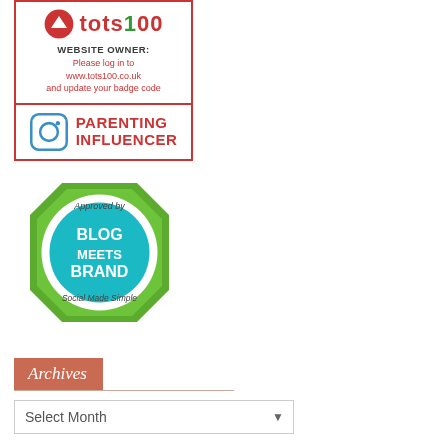[Figure (logo): Tots100 website badge with logo and 'WEBSITE OWNER: Please log in to www.tots100.co.uk and update your badge code' text, plus Parenting Influencer Instagram badge below]
[Figure (logo): Blog Meets Brand approved badge - green octagon shape with teal circle center reading BLOG MEETS BRAND, text 'Approved by' and 'Social Made Simple']
Archives
[Figure (other): Select Month dropdown widget]